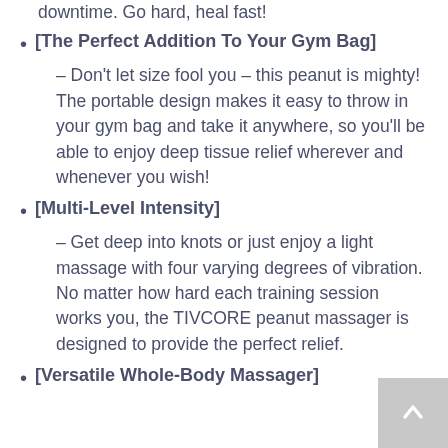downtime. Go hard, heal fast!
[The Perfect Addition To Your Gym Bag]
– Don't let size fool you – this peanut is mighty! The portable design makes it easy to throw in your gym bag and take it anywhere, so you'll be able to enjoy deep tissue relief wherever and whenever you wish!
[Multi-Level Intensity]
– Get deep into knots or just enjoy a light massage with four varying degrees of vibration. No matter how hard each training session works you, the TIVCORE peanut massager is designed to provide the perfect relief.
[Versatile Whole-Body Massager]